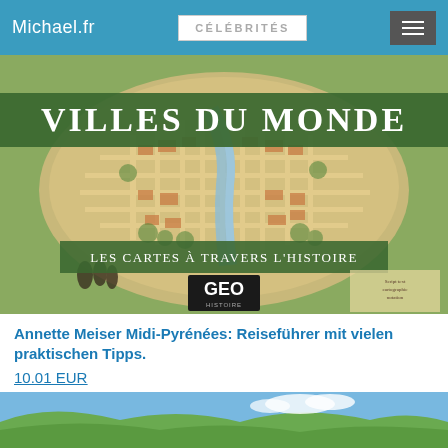Michael.fr | CÉLÉBRITÉS
[Figure (photo): Book cover: Villes du Monde – Les Cartes à Travers l'Histoire, GEO Histoire. Features an aerial historical map of a city in a circular/oval frame, with a green banner title at top and subtitle at bottom.]
Annette Meiser Midi-Pyrénées: Reiseführer mit vielen praktischen Tipps.
10.01 EUR
[Figure (photo): Bottom partial image showing a scenic landscape with green hills and blue sky, partially visible.]